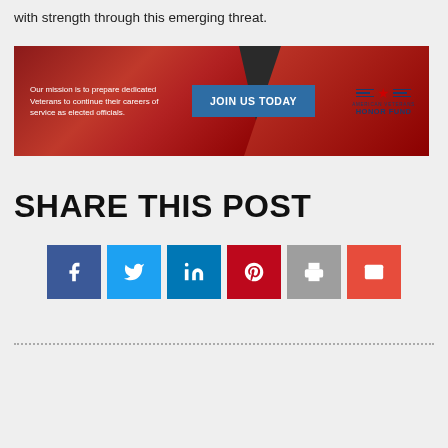with strength through this emerging threat.
[Figure (infographic): American Veterans Honor Fund banner advertisement with red gradient background, text 'Our mission is to prepare dedicated Veterans to continue their careers of service as elected officials.', a blue 'JOIN US TODAY' button, and the American Veterans Honor Fund logo with star and lines.]
SHARE THIS POST
[Figure (infographic): Row of six social media share buttons: Facebook (dark blue), Twitter (light blue), LinkedIn (blue), Pinterest (red), Print (gray), Email (orange-red).]